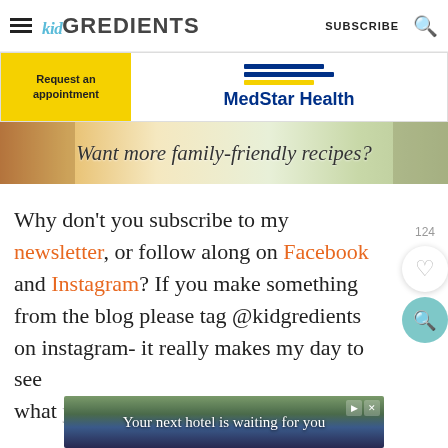kidGREDIENTS | SUBSCRIBE
[Figure (advertisement): MedStar Health advertisement with yellow 'Request an appointment' button and blue MedStar Health logo]
[Figure (advertisement): Banner ad: Want more family-friendly recipes? with food photos]
Why don't you subscribe to my newsletter, or follow along on Facebook and Instagram? If you make something from the blog please tag @kidgredients on instagram- it really makes my day to see what you've been making!
[Figure (advertisement): Bottom ad: Your next hotel is waiting for you]